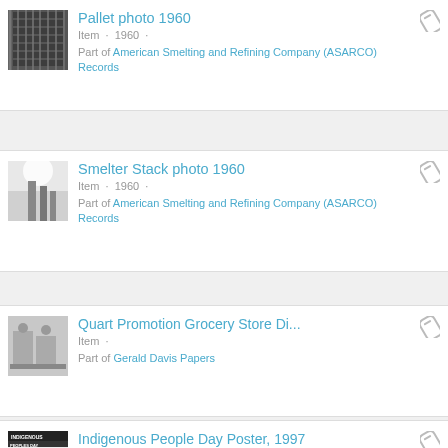Pallet photo 1960
Item · 1960 ·
Part of American Smelting and Refining Company (ASARCO) Records
Smelter Stack photo 1960
Item · 1960 ·
Part of American Smelting and Refining Company (ASARCO) Records
Quart Promotion Grocery Store Di...
Item ·
Part of Gerald Davis Papers
Indigenous People Day Poster, 1997